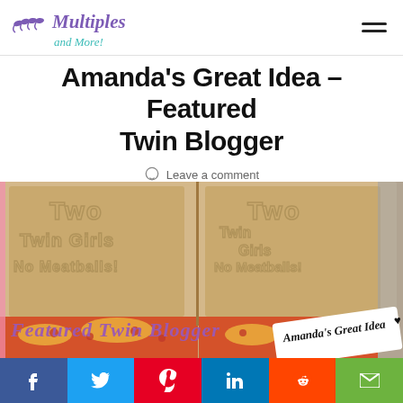Multiples and More
Amanda's Great Idea – Featured Twin Blogger
Leave a comment
[Figure (photo): Open pizza boxes with handwritten text on the inside lids reading 'Two Twin Girls No Meatballs!' with overlaid text 'Featured Twin Blogger' in purple cursive and 'Amanda's Great Idea' in black handwriting on a white tag.]
Social sharing buttons: Facebook, Twitter, Pinterest, LinkedIn, Reddit, Email